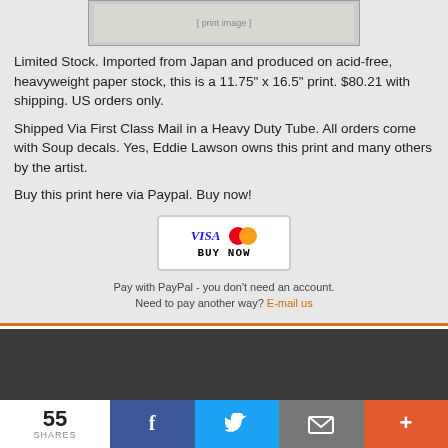[Figure (photo): Thumbnail image of the print product at the top]
Limited Stock. Imported from Japan and produced on acid-free, heavyweight paper stock, this is a 11.75" x 16.5" print. $80.21 with shipping. US orders only.
Shipped Via First Class Mail in a Heavy Duty Tube. All orders come with Soup decals. Yes, Eddie Lawson owns this print and many others by the artist.
Buy this print here via Paypal. Buy now!
[Figure (screenshot): PayPal Buy Now button showing VISA and MasterCard logos]
Pay with PayPal - you don't need an account.
Need to pay another way? E-mail us
[Figure (other): Dark footer area with Twitter and YouTube social media icons]
55 SHARES
[Figure (other): Share bar with Facebook, Twitter, email, and more buttons]